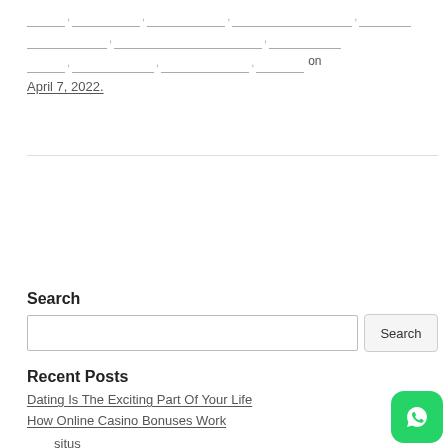_______, _____________, _____________, _____________________, _______ ______________, _____________________, ____________ _______, _____________, _____________, _________ on April 7, 2022.
situs judi slot
Search
Recent Posts
Dating Is The Exciting Part Of Your Life
How Online Casino Bonuses Work